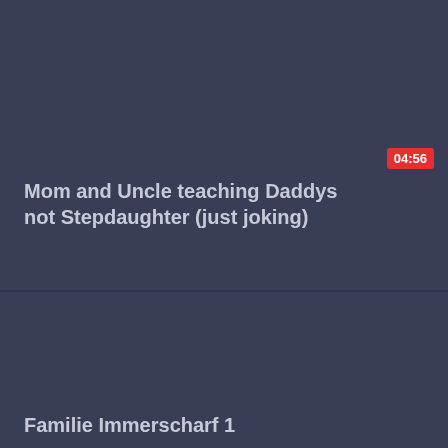[Figure (screenshot): Video thumbnail card 1 - dark blue/gray background with duration badge 04:56]
Mom and Uncle teaching Daddys not Stepdaughter (just joking)
[Figure (screenshot): Video thumbnail card 2 - dark blue/gray background with duration badge 85:24]
Familie Immerscharf 1